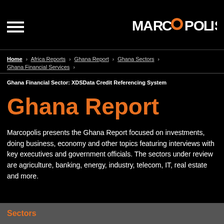[Figure (logo): Marcopolis logo with orange circle replacing the O]
Home > Africa Reports > Ghana Report > Ghana Sectors > Ghana Financial Services >
Ghana Financial Sector: XDSData Credit Referencing System
Ghana Report
Marcopolis presents the Ghana Report focused on investments, doing business, economy and other topics featuring interviews with key executives and government officials. The sectors under review are agriculture, banking, energy, industry, telecom, IT, real estate and more.
Sectors